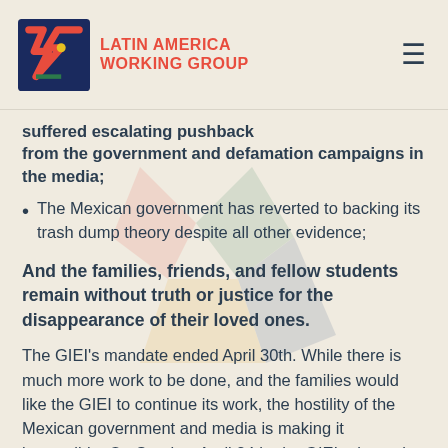LATIN AMERICA WORKING GROUP
suffered escalating pushback from the government and defamation campaigns in the media;
The Mexican government has reverted to backing its trash dump theory despite all other evidence;
And the families, friends, and fellow students remain without truth or justice for the disappearance of their loved ones.
The GIEI's mandate ended April 30th. While there is much more work to be done, and the families would like the GIEI to continue its work, the hostility of the Mexican government and media is making it impossible. On Sunday, April 24th, the GIEI released their final report on their investigation of the case. They are asking for international